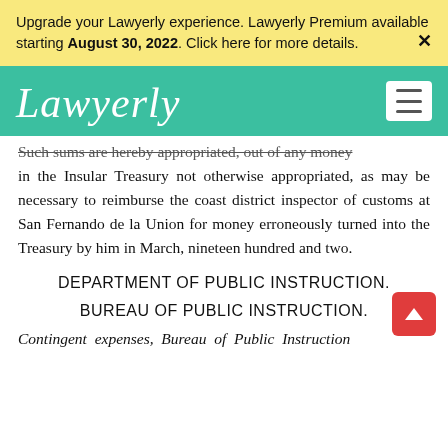Upgrade your Lawyerly experience. Lawyerly Premium available starting August 30, 2022. Click here for more details.
Lawyerly
Such sums are hereby appropriated, out of any money in the Insular Treasury not otherwise appropriated, as may be necessary to reimburse the coast district inspector of customs at San Fernando de la Union for money erroneously turned into the Treasury by him in March, nineteen hundred and two.
DEPARTMENT OF PUBLIC INSTRUCTION.
BUREAU OF PUBLIC INSTRUCTION.
Contingent expenses, Bureau of Public Instruction